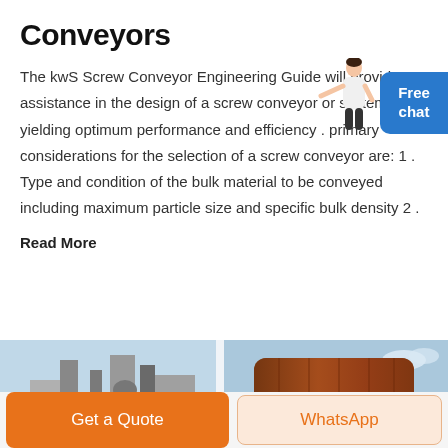Conveyors
The kwS Screw Conveyor Engineering Guide will provide assistance in the design of a screw conveyor or system, yielding optimum performance and efficiency . primary considerations for the selection of a screw conveyor are: 1 . Type and condition of the bulk material to be conveyed including maximum particle size and specific bulk density 2 .
Read More
[Figure (photo): Photo of industrial conveyor equipment, partially visible at bottom left]
[Figure (photo): Photo of large cylindrical industrial drum/conveyor component against blue sky, bottom right]
[Figure (illustration): Illustration of a person (customer service/chat avatar) with arm extended, next to a blue Free chat button]
Get a Quote
WhatsApp